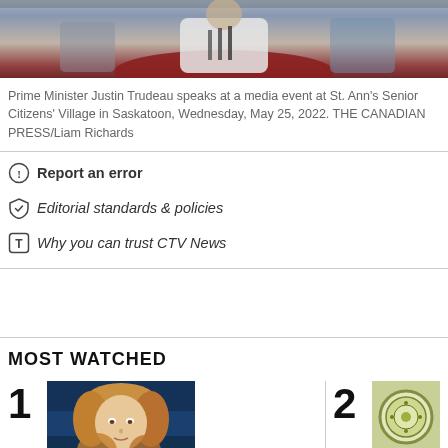[Figure (photo): Top portion of a photo showing Prime Minister Justin Trudeau speaking at a media event, partially cropped]
Prime Minister Justin Trudeau speaks at a media event at St. Ann's Senior Citizens' Village in Saskatoon, Wednesday, May 25, 2022. THE CANADIAN PRESS/Liam Richards
Report an error
Editorial standards & policies
Why you can trust CTV News
MOST WATCHED
[Figure (photo): Thumbnail 1: News anchor woman with blonde hair on blue studio background]
[Figure (photo): Thumbnail 2: Circular emblem/logo on light background]